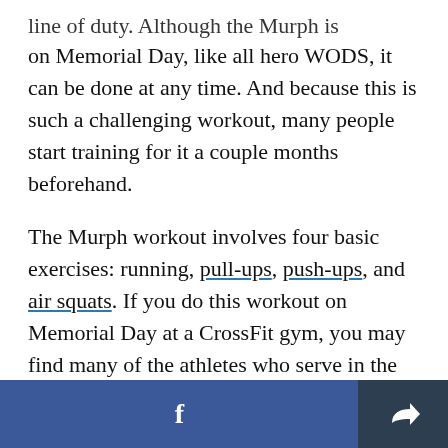line of duty. Although the Murph is typically done on Memorial Day, like all hero WODS, it can be done at any time. And because this is such a challenging workout, many people start training for it a couple months beforehand.
The Murph workout involves four basic exercises: running, pull-ups, push-ups, and air squats. If you do this workout on Memorial Day at a CrossFit gym, you may find many of the athletes who serve in the military performing this workout in full uniform, to honor Lt. Murphy and all the men and
f  [share icon]